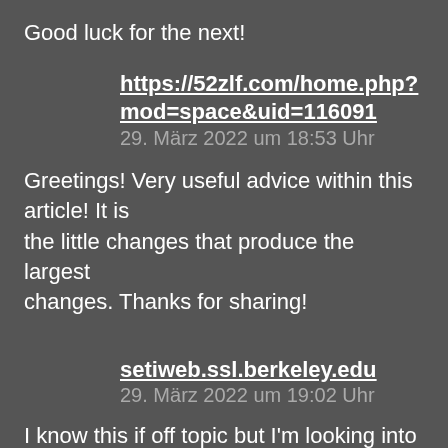Good luck for the next!
https://52zlf.com/home.php?mod=space&uid=116091
29. März 2022 um 18:53 Uhr
Greetings! Very useful advice within this article! It is the little changes that produce the largest changes. Thanks for sharing!
setiweb.ssl.berkeley.edu
29. März 2022 um 19:02 Uhr
I know this if off topic but I'm looking into